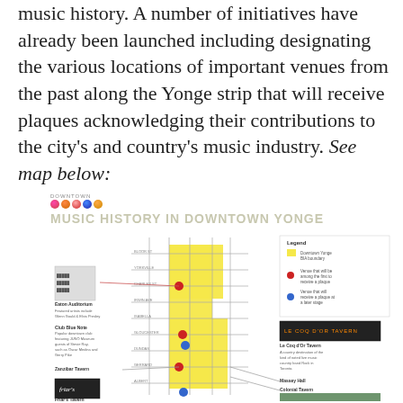music history. A number of initiatives have already been launched including designating the various locations of important venues from the past along the Yonge strip that will receive plaques acknowledging their contributions to the city's and country's music industry. See map below:
[Figure (map): Map titled 'Music History in Downtown Yonge' showing the Yonge Street strip with marked locations of historic music venues including Eaton Auditorium, Club Blue Note, Zanzibar Tavern, Friar's Tavern, Le Coq d'Or Tavern, Massey Hall, Colonial Tavern. Red dots mark venues to receive plaques now, blue dots mark venues to receive plaques at a later stage. Yellow shading shows Downtown Yonge BIA boundary. Legend included.]